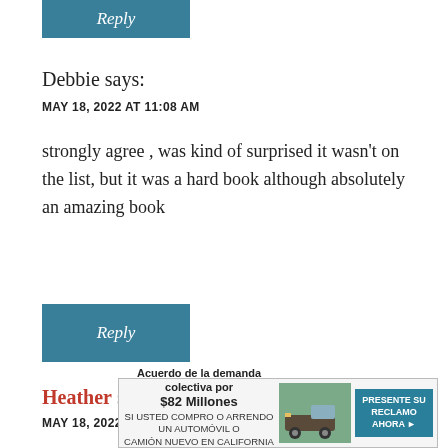Reply (button)
Debbie says:
MAY 18, 2022 AT 11:08 AM
strongly agree , was kind of surprised it wasn't on the list, but it was a hard book although absolutely an amazing book
Reply (button)
Heather says:
MAY 18, 2022 AT 10:49 AM
[Figure (other): Advertisement banner: Acuerdo de la demanda colectiva por $82 Millones - SI USTED COMPRO O ARRENDO UN AUTOMÓVIL O CAMIÓN NUEVO EN CALIFORNIA DESDE 2001 A 2003 - PRESENTE SU RECLAMO AHORA]
I enjoy... this list and the unboxing tomorrow, my TBR is going